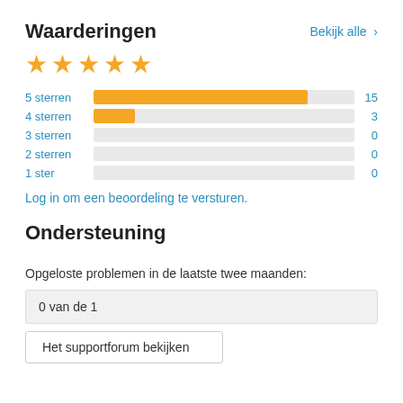Waarderingen
Bekijk alle >
[Figure (other): Five yellow stars rating display]
[Figure (bar-chart): Rating distribution]
Log in om een beoordeling te versturen.
Ondersteuning
Opgeloste problemen in de laatste twee maanden:
0 van de 1
Het supportforum bekijken